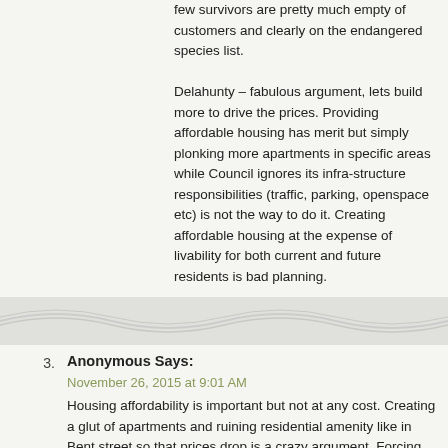few survivors are pretty much empty of customers and clearly on the endangered species list.
Delahunty – fabulous argument, lets build more to drive the prices. Providing affordable housing has merit but simply plonking more apartments in specific areas while Council ignores its infra-structure responsibilities (traffic, parking, openspace etc) is not the way to do it. Creating affordable housing at the expense of livability for both current and future residents is bad planning.
3. Anonymous Says:
November 26, 2015 at 9:01 AM
Housing affordability is important but not at any cost. Creating a glut of apartments and ruining residential amenity like in Bent street so that prices drop is a crazy argument. Forcing people to move so that others can buy cheaper is also a crazy argument. Anyway I don't see too many affordable places in Glen Eira and not even a policy about creating affordable housing. C60 got voted through without such places when they were supposed to provide them. All cheap talk and hot air while developers have a field day. Good job Delahunty.